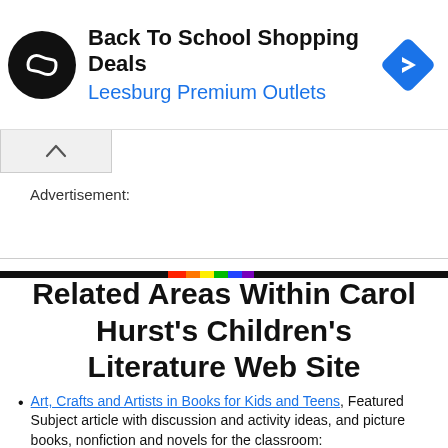[Figure (screenshot): Advertisement banner for Back To School Shopping Deals at Leesburg Premium Outlets, with a black circular logo with a double-infinity symbol, a blue diamond navigation icon, and ad controls.]
Advertisement:
Related Areas Within Carol Hurst's Children's Literature Web Site
Art, Crafts and Artists in Books for Kids and Teens, Featured Subject article with discussion and activity ideas, and picture books, nonfiction and novels for the classroom: http://www.carolhurst.com/subjects/art.html